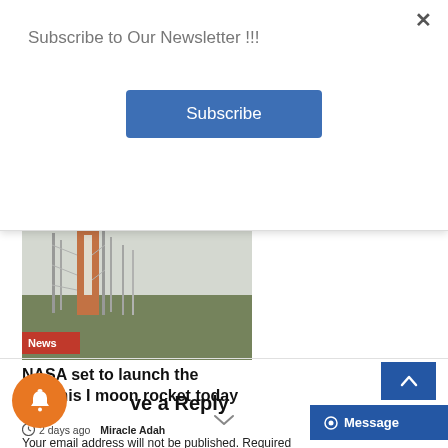Subscribe to Our Newsletter !!!
Subscribe
[Figure (photo): Photograph of NASA Artemis I rocket on launch pad with trees in foreground and 'News' badge overlay]
NASA set to launch the Artemis I moon rocket today
2 days ago  Miracle Adah
Leave a Reply
Your email address will not be published. Required